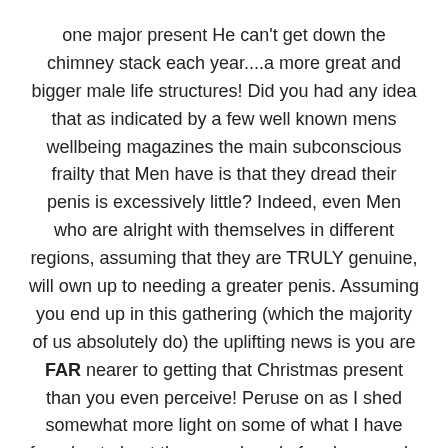one major present He can't get down the chimney stack each year....a more great and bigger male life structures! Did you had any idea that as indicated by a few well known mens wellbeing magazines the main subconscious frailty that Men have is that they dread their penis is excessively little? Indeed, even Men who are alright with themselves in different regions, assuming that they are TRULY genuine, will own up to needing a greater penis. Assuming you end up in this gathering (which the majority of us absolutely do) the uplifting news is you are FAR nearer to getting that Christmas present than you even perceive! Peruse on as I shed somewhat more light on some of what I have found out about the sacred goal of male upgrade and improvement.